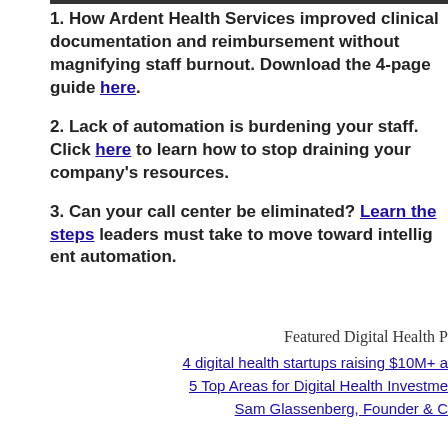1. How Ardent Health Services improved clinical documentation and reimbursement without magnifying staff burnout. Download the 4-page guide here.
2. Lack of automation is burdening your staff. Click here to learn how to stop draining your company's resources.
3. Can your call center be eliminated? Learn the steps leaders must take to move toward intelligent automation.
Featured Digital Health P
4 digital health startups raising $10M+ a
5 Top Areas for Digital Health Investme
Sam Glassenberg, Founder & C